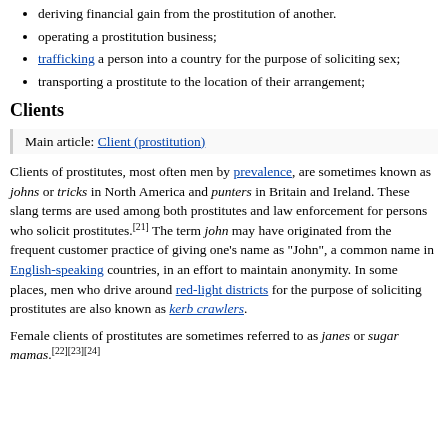deriving financial gain from the prostitution of another.
operating a prostitution business;
trafficking a person into a country for the purpose of soliciting sex;
transporting a prostitute to the location of their arrangement;
Clients
Main article: Client (prostitution)
Clients of prostitutes, most often men by prevalence, are sometimes known as johns or tricks in North America and punters in Britain and Ireland. These slang terms are used among both prostitutes and law enforcement for persons who solicit prostitutes.[21] The term john may have originated from the frequent customer practice of giving one's name as "John", a common name in English-speaking countries, in an effort to maintain anonymity. In some places, men who drive around red-light districts for the purpose of soliciting prostitutes are also known as kerb crawlers.
Female clients of prostitutes are sometimes referred to as janes or sugar mamas.[22][23][24]